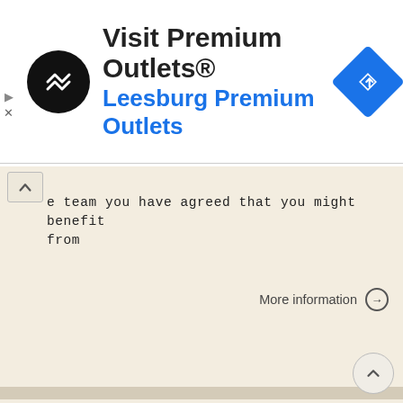[Figure (screenshot): Advertisement banner for Visit Premium Outlets® - Leesburg Premium Outlets with logo and navigation icon]
e team you have agreed that you might benefit from
More information →
A Guide. To Revision Total Knee Replacement. Patient Information Leaflet
A Guide This leaflet is available in large print, Braille and on tape. Please contact Geoff Pennock on 0151 604 7289. To Revision Total Knee Replacement Wirral University Teaching Hospital NHS Foundation
More information →
W h e r e a s t h e r e a r e f e w e r o f t h e s e